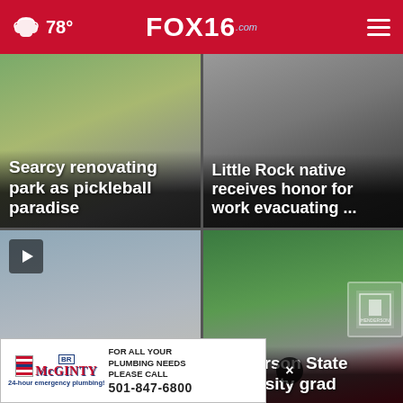78° FOX16.com
[Figure (photo): News card: Searcy renovating park as pickleball paradise]
[Figure (photo): News card: Little Rock native receives honor for work evacuating ...]
[Figure (photo): News card with play button: Clark Co. prosecutor she out on]
[Figure (photo): News card: Henderson State University grad]
[Figure (other): Advertisement banner: BR McGinty - For all your plumbing needs please call 501-847-6800. 24-hour emergency plumbing!]